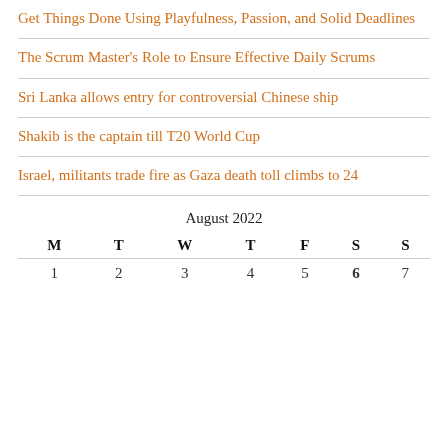Get Things Done Using Playfulness, Passion, and Solid Deadlines
The Scrum Master's Role to Ensure Effective Daily Scrums
Sri Lanka allows entry for controversial Chinese ship
Shakib is the captain till T20 World Cup
Israel, militants trade fire as Gaza death toll climbs to 24
| M | T | W | T | F | S | S |
| --- | --- | --- | --- | --- | --- | --- |
| 1 | 2 | 3 | 4 | 5 | 6 | 7 |